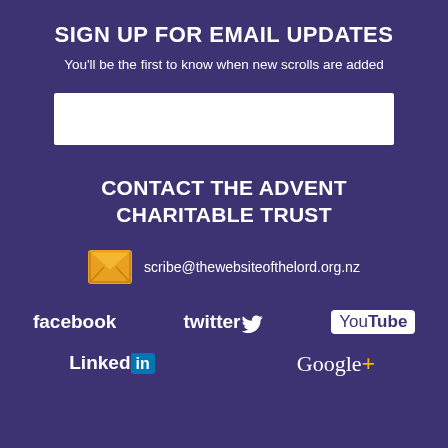SIGN UP FOR EMAIL UPDATES
You'll be the first to know when new scrolls are added
[Figure (other): White email input text field/box]
CONTACT THE ADVENT CHARITABLE TRUST
scribe@thewebsiteofthelord.org.nz
[Figure (logo): Social media logos row 1: facebook, twitter, YouTube]
[Figure (logo): Social media logos row 2: LinkedIn, Google+]